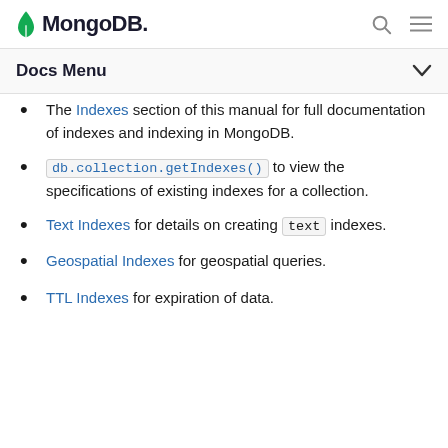MongoDB
Docs Menu
The Indexes section of this manual for full documentation of indexes and indexing in MongoDB.
db.collection.getIndexes() to view the specifications of existing indexes for a collection.
Text Indexes for details on creating text indexes.
Geospatial Indexes for geospatial queries.
TTL Indexes for expiration of data.